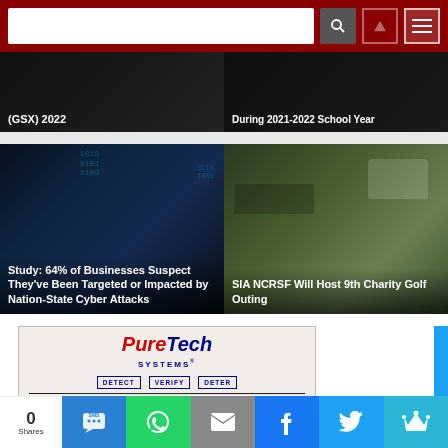Search bar and navigation
[Figure (screenshot): News card: (GSX) 2022 - dark background]
[Figure (screenshot): News card: During 2021-2022 School Year - dark background]
[Figure (screenshot): News card: Study: 64% of Businesses Suspect They've Been Targeted or Impacted by Nation-State Cyber Attacks - dark cybersecurity background]
[Figure (screenshot): News card: SIA NCRSF Will Host 9th Charity Golf Outing - outdoor event photo]
[Figure (logo): PureTech Systems advertisement with logo, DETECT VERIFY DETER badges, C4ISR software headline and body text]
0 Shares - Social sharing buttons: SMS, WhatsApp, Email, Facebook, Twitter, Crown